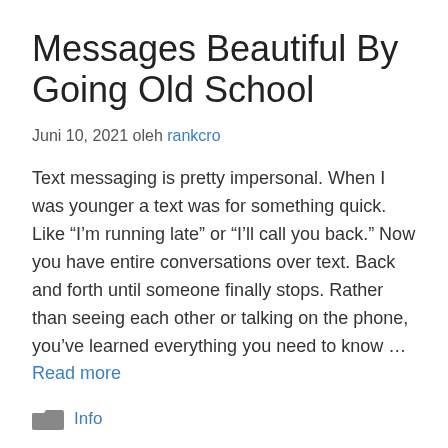Messages Beautiful By Going Old School
Juni 10, 2021 oleh rankcro
Text messaging is pretty impersonal. When I was younger a text was for something quick. Like “I’m running late” or “I’ll call you back.” Now you have entire conversations over text. Back and forth until someone finally stops. Rather than seeing each other or talking on the phone, you’ve learned everything you need to know … Read more
Info